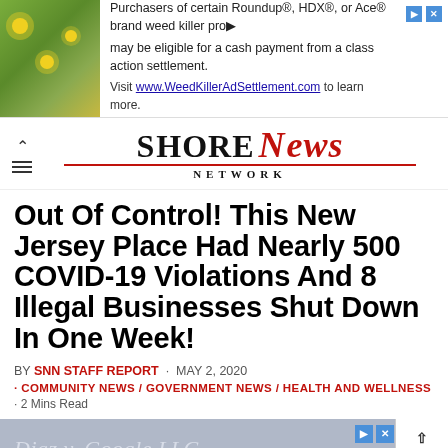[Figure (other): Advertisement banner: flowers/plant image on left, text about Roundup, HDX, Ace brand weed killer class action settlement, visit WeedKillerAdSettlement.com]
SHORE NEWS NETWORK
Out Of Control! This New Jersey Place Had Nearly 500 COVID-19 Violations And 8 Illegal Businesses Shut Down In One Week!
BY SNN STAFF REPORT · MAY 2, 2020
COMMUNITY NEWS / GOVERNMENT NEWS / HEALTH AND WELLNESS
2 MINS READ
[Figure (other): Advertisement banner at bottom showing partial text 'Diaz v. Google LLC,' with grey background and GO TO TOP button]